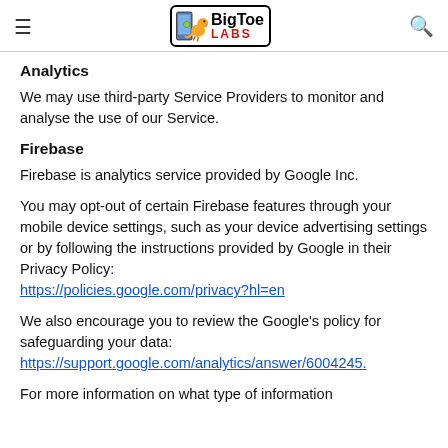BigToe Labs
Analytics
We may use third-party Service Providers to monitor and analyse the use of our Service.
Firebase
Firebase is analytics service provided by Google Inc.
You may opt-out of certain Firebase features through your mobile device settings, such as your device advertising settings or by following the instructions provided by Google in their Privacy Policy: https://policies.google.com/privacy?hl=en
We also encourage you to review the Google's policy for safeguarding your data: https://support.google.com/analytics/answer/6004245.
For more information on what type of information